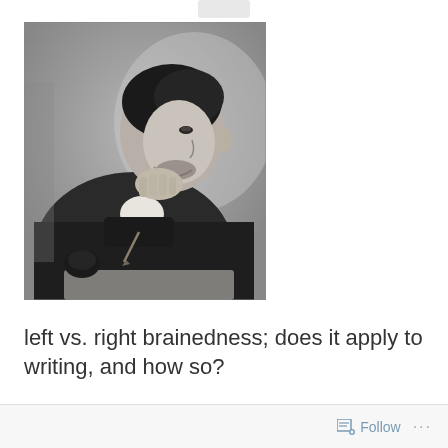[Figure (photo): Black and white historical photograph of a man in a suit, seated and leaning forward with his hand under his chin in a thoughtful pose, appearing to be writing or reading at a desk. The image has a vintage, early 20th century aesthetic.]
left vs. right brainedness; does it apply to writing, and how so?
Follow ...